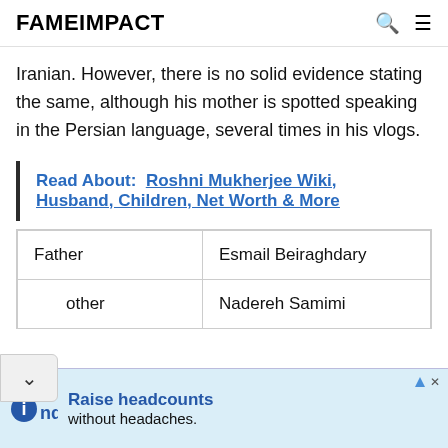FAMEIMPACT
Iranian. However, there is no solid evidence stating the same, although his mother is spotted speaking in the Persian language, several times in his vlogs.
Read About:  Roshni Mukherjee Wiki, Husband, Children, Net Worth & More
| Father | Esmail Beiraghdary |
| Mother | Nadereh Samimi |
[Figure (screenshot): Indeed advertisement banner: 'Raise headcounts without headaches.']